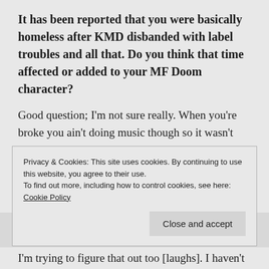It has been reported that you were basically homeless after KMD disbanded with label troubles and all that. Do you think that time affected or added to your MF Doom character?
Good question; I'm not sure really. When you're broke you ain't doing music though so it wasn't like I was making music on a park bench somewhere. But I do think it sticks to the music a little bit. When I write from a broke-ass point of view I've actually been there. When I spoke as Mf
Privacy & Cookies: This site uses cookies. By continuing to use this website, you agree to their use.
To find out more, including how to control cookies, see here: Cookie Policy
Close and accept
I'm trying to figure that out too [laughs]. I haven't